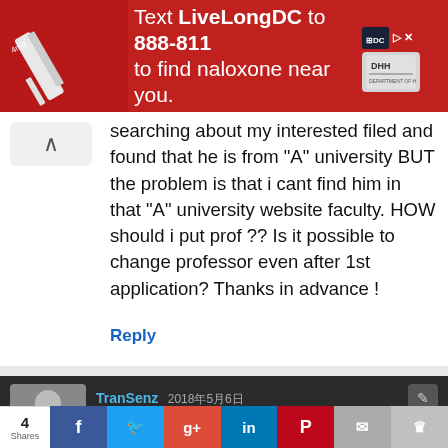[Figure (screenshot): Red advertisement banner: Text LiveLongDC to 888-811 to find naloxone near you. With DC government logo and DHH logo on the right.]
searching about my interested filed and found that he is from "A" university BUT the problem is that i cant find him in that "A" university website faculty. HOW should i put prof ?? Is it possible to change professor even after 1st application? Thanks in advance !
Reply
TranSenz 2018年5月6日
Hi MS,
I would recommend that you only put one professor from each university on the Placement
[Figure (other): Social share bar with share count 4, Facebook, Twitter, Google+, LinkedIn, Pinterest, Email, and StumbleUpon buttons]